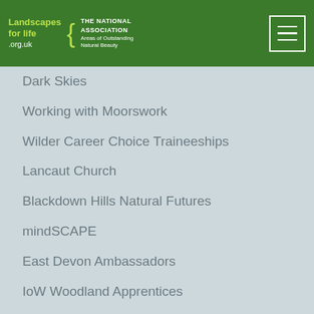Landscapes for life .org.uk | THE NATIONAL ASSOCIATION Areas of Outstanding Natural Beauty
Dark Skies
Working with Moorswork
Wilder Career Choice Traineeships
Lancaut Church
Blackdown Hills Natural Futures
mindSCAPE
East Devon Ambassadors
IoW Woodland Apprentices
Dorset Food and Drink
Suffolk Coast Conservation
Cranborne Chase Cider
Lincolnshire Wolds Walking Festival